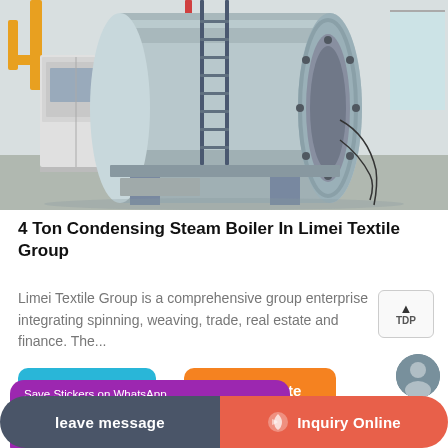[Figure (photo): Industrial condensing steam boiler in a factory setting, large cylindrical horizontal boiler tank with blue steel structure, yellow pipes and scaffolding, white control cabinet on the left, inside a warehouse/industrial facility.]
4 Ton Condensing Steam Boiler In Limei Textile Group
Limei Textile Group is a comprehensive group enterprise integrating spinning, weaving, trade, real estate and finance. The...
Learn More
Get a quote
Save Stickers on WhatsApp
leave message
Inquiry Online